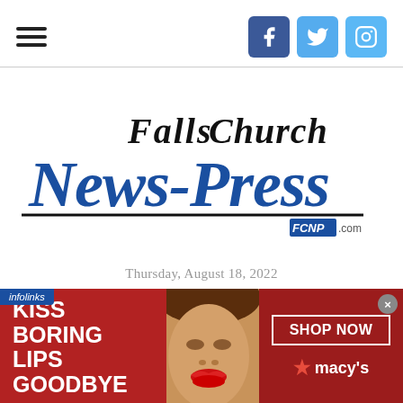Falls Church News-Press — FCNP.com
[Figure (logo): Falls Church News-Press newspaper logo with blackletter typography. 'Falls Church' in black blackletter above, 'News-Press' in blue blackletter below, with a horizontal rule and FCNP.com badge.]
Thursday, August 18, 2022
[Figure (infographic): Advertisement banner: red background with 'KISS BORING LIPS GOODBYE' text on left, woman's face with red lips in center, 'SHOP NOW' button and Macy's star logo on right. Infolinks label in upper left corner. Close button (x) in upper right.]